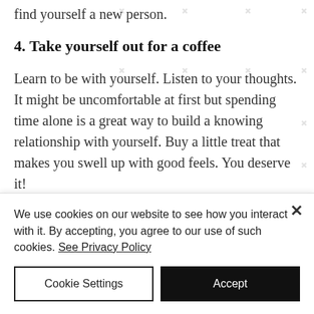state and after a few sessions you'll find yourself a new person.
4. Take yourself out for a coffee
Learn to be with yourself. Listen to your thoughts. It might be uncomfortable at first but spending time alone is a great way to build a knowing relationship with yourself. Buy a little treat that makes you swell up with good feels. You deserve it!
We use cookies on our website to see how you interact with it. By accepting, you agree to our use of such cookies. See Privacy Policy
Cookie Settings
Accept